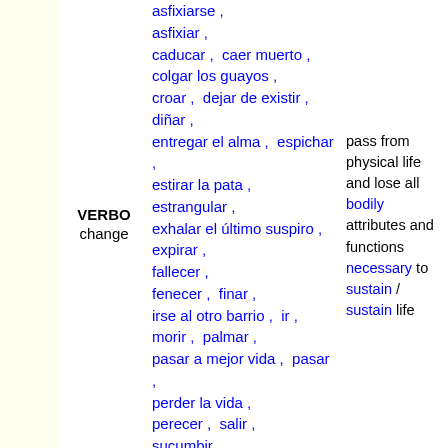VERBO  change
asfixiarse , asfixiar , caducar , caer muerto , colgar los guayos , croar , dejar de existir , diñar , entregar el alma , espichar , estirar la pata , estrangular , exhalar el último suspiro , expirar , fallecer , fenecer , finar , irse al otro barrio , ir , morir , palmar , pasar a mejor vida , pasar , perder la vida , perecer , salir , sucumbir , vencer
pass from physical life and lose all bodily attributes and functions necessary to sustain / sustain life